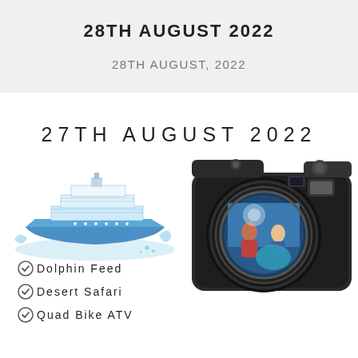28TH AUGUST 2022
28TH AUGUST, 2022
27TH AUGUST 2022
[Figure (illustration): Illustrated cruise ship with blue water splash]
[Figure (photo): DSLR camera with photo reflected in lens showing people]
Dolphin Feed
Desert Safari
Quad Bike ATV